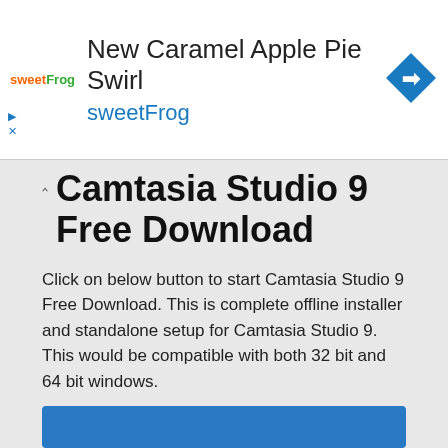[Figure (screenshot): Advertisement banner for sweetFrog showing 'New Caramel Apple Pie Swirl sweetFrog' with sweetFrog logo and a blue navigation icon on the right]
Camtasia Studio 9 Free Download
Click on below button to start Camtasia Studio 9 Free Download. This is complete offline installer and standalone setup for Camtasia Studio 9. This would be compatible with both 32 bit and 64 bit windows.
Before Installing Software You Must Watch This Installation Guide Video
[Figure (screenshot): Partially visible blue download button at the bottom of the page]